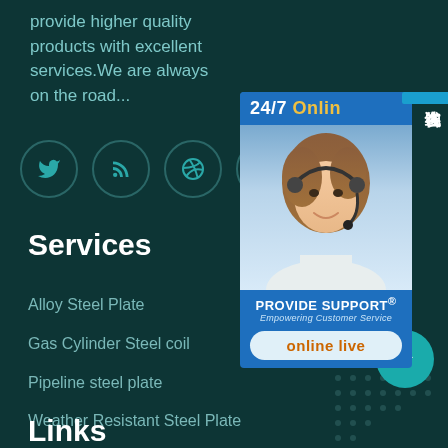provide higher quality products with excellent services.We are always on the road...
[Figure (infographic): Row of 5 social media icon circles (Twitter, RSS, Dribbble, Behance, Instagram) with teal outlines on dark teal background]
Services
Alloy Steel Plate
Gas Cylinder Steel coil
Pipeline steel plate
Weather Resistant Steel Plate
[Figure (infographic): 24/7 Online customer support widget with Chinese label tab '在线咨询', woman with headset photo, PROVIDE SUPPORT Empowering Customer Service text, and orange 'online live' button]
[Figure (infographic): Teal circular up-arrow button at bottom right]
Links